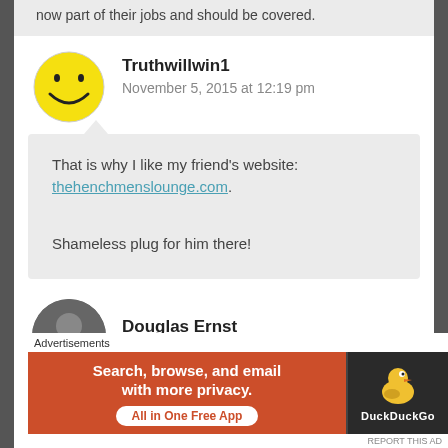now part of their jobs and should be covered.
Truthwillwin1
November 5, 2015 at 12:19 pm
That is why I like my friend's website: thehenchmenslounge.com.

Shameless plug for him there!
Douglas Ernst
Advertisements
[Figure (screenshot): DuckDuckGo advertisement banner: 'Search, browse, and email with more privacy. All in One Free App' with DuckDuckGo logo on dark background]